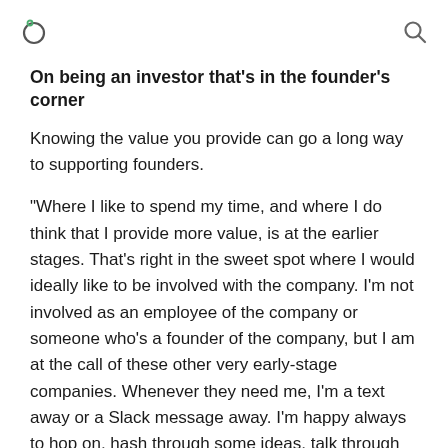[logo] [search icon]
On being an investor that's in the founder's corner
Knowing the value you provide can go a long way to supporting founders.
“Where I like to spend my time, and where I do think that I provide more value, is at the earlier stages. That's right in the sweet spot where I would ideally like to be involved with the company. I'm not involved as an employee of the company or someone who's a founder of the company, but I am at the call of these other very early-stage companies. Whenever they need me, I'm a text away or a Slack message away. I'm happy always to hop on, hash through some ideas, talk through anything, or help them with whatever may pop up.
That is easier to do at the earliest stages. It's also